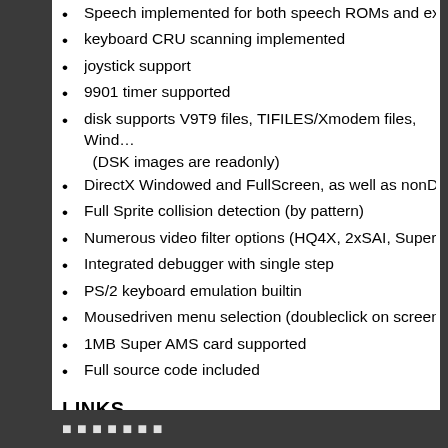Speech implemented for both speech ROMs and exte…
keyboard CRU scanning implemented
joystick support
9901 timer supported
disk supports V9T9 files, TIFILES/Xmodem files, Wind… (DSK images are readonly)
DirectX Windowed and FullScreen, as well as nonDire…
Full Sprite collision detection (by pattern)
Numerous video filter options (HQ4X, 2xSAI, SuperEa…
Integrated debugger with single step
PS/2 keyboard emulation builtin
Mousedriven menu selection (doubleclick on screen)
1MB Super AMS card supported
Full source code included
LINKS
Software from HarmlessLion.com!
GitHub - tursilion/classic99: Classic99 TI-99/4A Emulat…
https://github.com/tursilion/classic99/blob/master/readme.